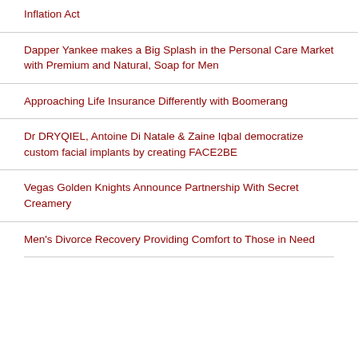Inflation Act
Dapper Yankee makes a Big Splash in the Personal Care Market with Premium and Natural, Soap for Men
Approaching Life Insurance Differently with Boomerang
Dr DRYQIEL, Antoine Di Natale & Zaine Iqbal democratize custom facial implants by creating FACE2BE
Vegas Golden Knights Announce Partnership With Secret Creamery
Men's Divorce Recovery Providing Comfort to Those in Need